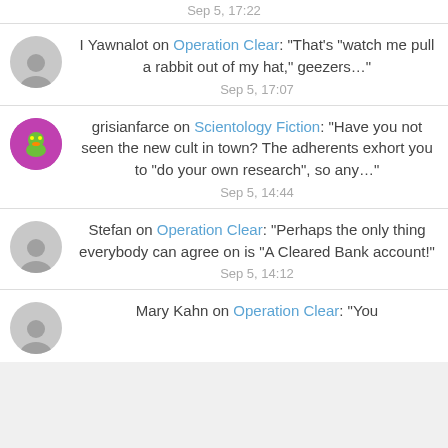Sep 5, 17:22
I Yawnalot on Operation Clear: “That’s “watch me pull a rabbit out of my hat,” geezers…”
Sep 5, 17:07
grisianfarce on Scientology Fiction: “Have you not seen the new cult in town? The adherents exhort you to “do your own research”, so any…”
Sep 5, 14:44
Stefan on Operation Clear: “Perhaps the only thing everybody can agree on is “A Cleared Bank account!”
Sep 5, 14:12
Mary Kahn on Operation Clear: “You